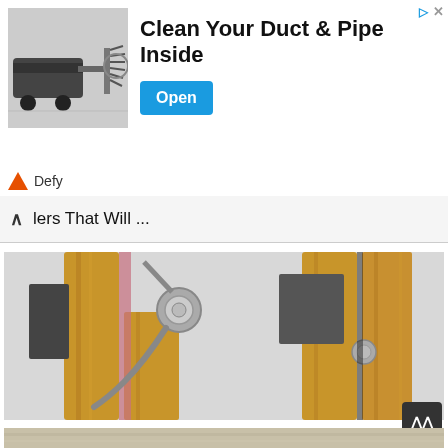[Figure (screenshot): Advertisement banner showing a duct cleaning device with brush attachment. Ad title reads 'Clean Your Duct & Pipe Inside' with an 'Open' button. Branded 'Defy' with a triangle logo. Skip/close icons at top right.]
lers That Will ...
[Figure (photo): Close-up photo of two wooden clothespins with metal springs and small dark square magnets attached to them, on a light background.]
33 Brilliant Diy Magnetic Colorblock Desk Accessories That Make A ...
[Figure (photo): Partially visible image strip at the bottom of the page.]